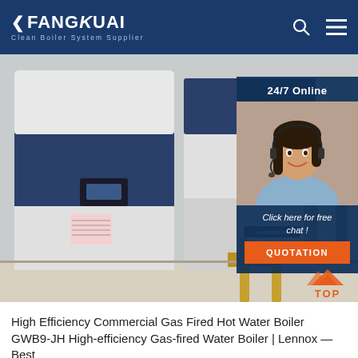FANGKUAI — Clean Boiler System Supplier
[Figure (photo): Photo of large commercial Fangkuai gas-fired hot water boilers in an industrial installation. Dark blue and white boilers with yellow pipes visible. A customer service representative overlay in top-right showing '24/7 Online', 'Click here for free chat!', and 'QUOTATION' button. A red 'TOP' button at the bottom-right.]
High Efficiency Commercial Gas Fired Hot Water Boiler GWB9-JH High-efficiency Gas-fired Water Boiler | Lennox — Best